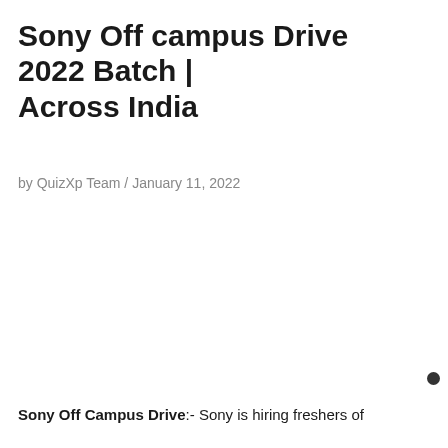Sony Off campus Drive 2022 Batch | Across India
by QuizXp Team / January 11, 2022
Sony Off Campus Drive:- Sony is hiring freshers of